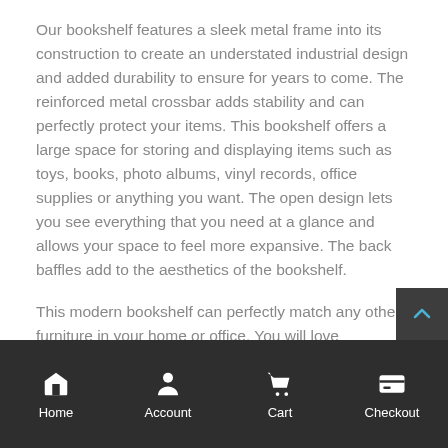Our bookshelf features a sleek metal frame into its construction to create an understated industrial design and added durability to ensure for years to come. The reinforced metal crossbar adds stability and can perfectly protect your items. This bookshelf offers a large space for storing and displaying items such as toys, books, photo albums, vinyl records, office supplies or anything you want. The open design lets you see everything that you need at a glance and allows your space to feel more expansive. The back baffles add to the aesthetics of the bookshelf.
This modern bookshelf can perfectly match any other furniture in your home or office. You will love
Home  Account  Cart  Checkout